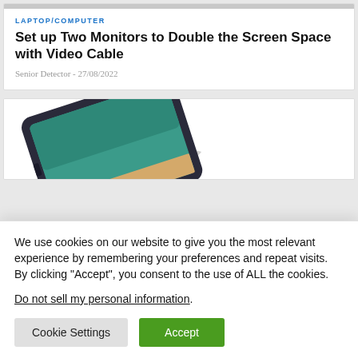LAPTOP/COMPUTER
Set up Two Monitors to Double the Screen Space with Video Cable
Senior Detector - 27/08/2022
[Figure (photo): Partial view of a tablet or laptop device angled, showing screen with teal/green wallpaper]
We use cookies on our website to give you the most relevant experience by remembering your preferences and repeat visits. By clicking “Accept”, you consent to the use of ALL the cookies.
Do not sell my personal information.
Cookie Settings
Accept